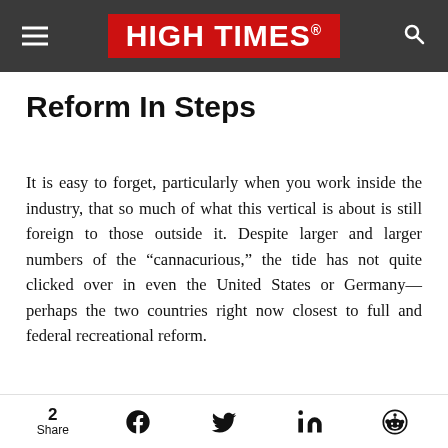HIGH TIMES
Reform In Steps
It is easy to forget, particularly when you work inside the industry, that so much of what this vertical is about is still foreign to those outside it. Despite larger and larger numbers of the “cannacurious,” the tide has not quite clicked over in even the United States or Germany—perhaps the two countries right now closest to full and federal recreational reform.
2 Share [Facebook] [Twitter] [LinkedIn] [Reddit]